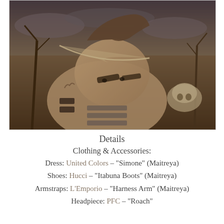[Figure (photo): Dark fantasy digital art / 3D render of a female character with tribal face paint, feather headpiece, armor harness, lying down against a background of bare trees, skulls, and cloudy sky in sepia/dark tones.]
Details
Clothing & Accessories:
Dress: United Colors – "Simone" (Maitreya)
Shoes: Hucci – "Itabuna Boots" (Maitreya)
Armstraps: L'Emporio – "Harness Arm" (Maitreya)
Headpiece: PFC – "Roach"